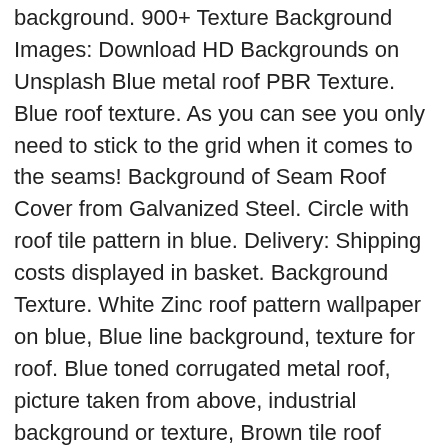background. 900+ Texture Background Images: Download HD Backgrounds on Unsplash Blue metal roof PBR Texture. Blue roof texture. As you can see you only need to stick to the grid when it comes to the seams! Background of Seam Roof Cover from Galvanized Steel. Circle with roof tile pattern in blue. Delivery: Shipping costs displayed in basket. Background Texture. White Zinc roof pattern wallpaper on blue, Blue line background, texture for roof. Blue toned corrugated metal roof, picture taken from above, industrial background or texture, Brown tile roof under blue sky. $ ... You CAN use this texture for free, even for commercial use, as long as you give appropriate credit, link to the website, provide a link to the license, and indicate if changes were made. Blue Roof Texture. Download this Premium Photo about Closeup of blue roof texture., and discover more than 5 Million Professional Stock Photos on Freepik Copyright © 2000-2020 Dreamstime. Blue metal texture. Jul 29, 2017 - Sketchuptexture | Texture seamless | Blue clay roofing texture seamless 03444 | Textures - ARCHITECTURE - ROOFINGS - Clay roofs 5.00 $ ...